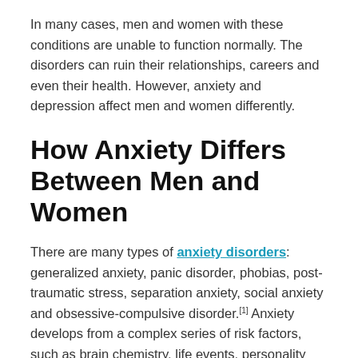In many cases, men and women with these conditions are unable to function normally. The disorders can ruin their relationships, careers and even their health. However, anxiety and depression affect men and women differently.
How Anxiety Differs Between Men and Women
There are many types of anxiety disorders: generalized anxiety, panic disorder, phobias, post-traumatic stress, separation anxiety, social anxiety and obsessive-compulsive disorder.[1] Anxiety develops from a complex series of risk factors, such as brain chemistry, life events, personality and genetics. All types cause excessive anxious feelings and behavioural disturbances, but the specific